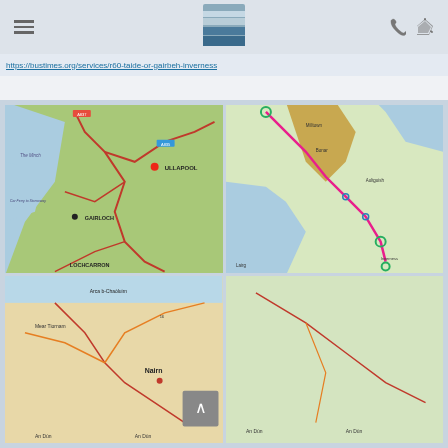Navigation header with hamburger menu, logo, phone and location icons
https://bustimes.org/services/r60-taide-or-gairbeh-inverness
[Figure (map): Map of northwest Scotland showing route areas including Gairloch, Ullapool, and Lochcarron with road network]
[Figure (map): Detailed route map showing path through Scottish Highlands with green and pink route lines marked]
[Figure (map): Map of Scottish Highlands area showing Nairn and surrounding region]
[Figure (map): Partial map of area around An Dum and surrounding Scottish Highland region]